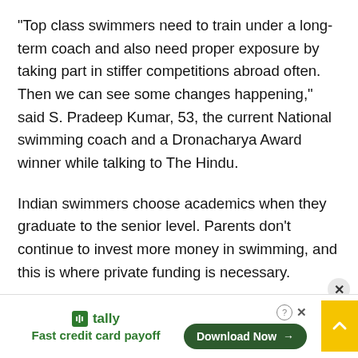“Top class swimmers need to train under a long-term coach and also need proper exposure by taking part in stiffer competitions abroad often. Then we can see some changes happening,” said S. Pradeep Kumar, 53, the current National swimming coach and a Dronacharya Award winner while talking to The Hindu.
Indian swimmers choose academics when they graduate to the senior level. Parents don’t continue to invest more money in swimming, and this is where private funding is necessary.
It can be a challenge when you know no corporate house
[Figure (other): Advertisement banner for Tally app - Fast credit card payoff, with a green Download Now button and a yellow scroll-to-top button]